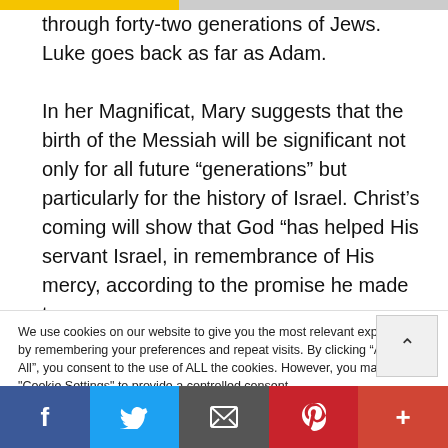through forty-two generations of Jews. Luke goes back as far as Adam.
In her Magnificat, Mary suggests that the birth of the Messiah will be significant not only for all future “generations” but particularly for the history of Israel. Christ’s coming will show that God “has helped His servant Israel, in remembrance of His mercy, according to the promise he made to our
We use cookies on our website to give you the most relevant experience by remembering your preferences and repeat visits. By clicking “Accept All”, you consent to the use of ALL the cookies. However, you may visit "Cookie Settings" to provide a controlled consent.
f  t  [email]  p  +